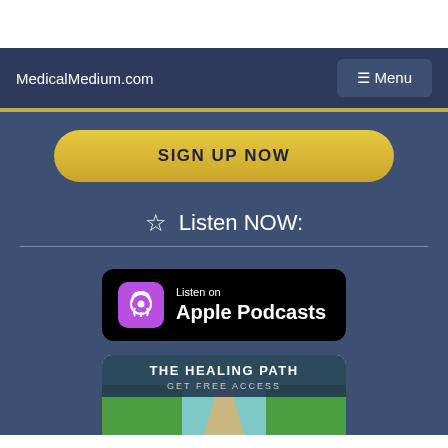MedicalMedium.com
SIGN UP NOW
☆  Listen NOW:
[Figure (logo): Listen on Apple Podcasts badge — black rounded rectangle with purple podcast icon and white text]
[Figure (screenshot): The Healing Path — Get Free Access banner with green field background]